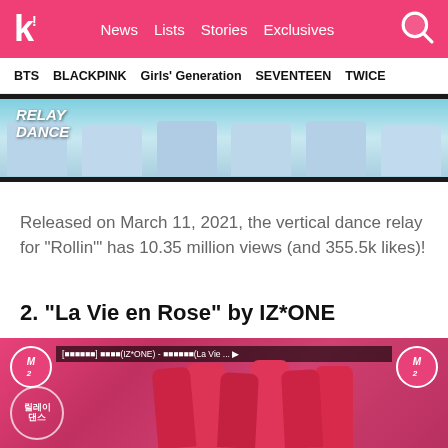k! News  Lists  Stories  Exclusives
BTS  BLACKPINK  Girls' Generation  SEVENTEEN  TWICE
[Figure (photo): Relay Dance video thumbnail showing group of girls in light blue outfits, with 'RELAY DANCE' text overlay on left]
Released on March 11, 2021, the vertical dance relay for “Rollin’” has 10.35 million views (and 355.5k likes)!
2. “La Vie en Rose” by IZ*ONE
[Figure (photo): IZ*ONE relay dance video thumbnail showing group of girls in red outfits with M2 logo and Korean text overlay reading La Vie...]